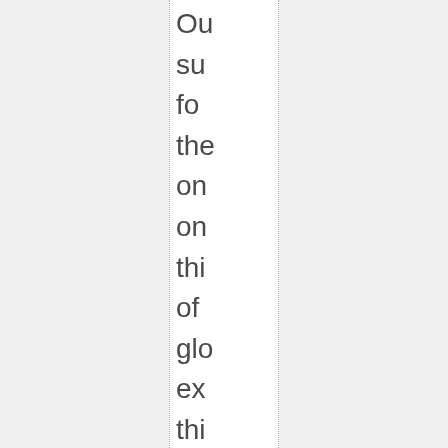Ou su fo the on on thi of glo ex thi the are pre to lea a div wo